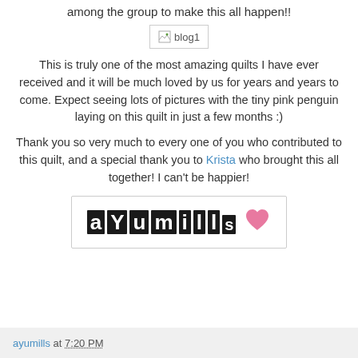among the group to make this all happen!!
[Figure (other): Broken image placeholder labeled blog1]
This is truly one of the most amazing quilts I have ever received and it will be much loved by us for years and years to come. Expect seeing lots of pictures with the tiny pink penguin laying on this quilt in just a few months :)
Thank you so very much to every one of you who contributed to this quilt, and a special thank you to Krista who brought this all together! I can't be happier!
[Figure (logo): Signature logo reading 'ayumills' in ransom-letter style black tiles with a pink heart]
ayumills at 7:20 PM